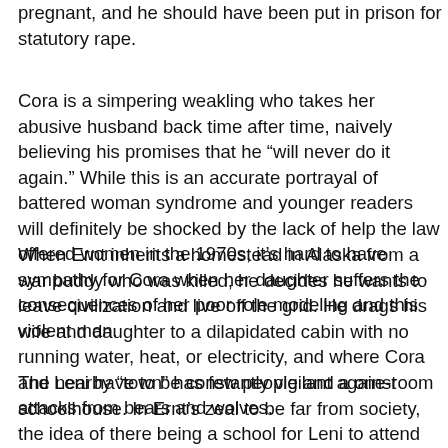pregnant, and he should have been put in prison for statutory rape.
Cora is a simpering weakling who takes her abusive husband back time after time, naively believing his promises that he “will never do it again.” While this is an accurate portrayal of battered woman syndrome and younger readers will definitely be shocked by the lack of help the law offered women in the 1970s, it’s hard to have sympathy for Cora when her daughter suffers the consequences of her poor role modeling and this violent man.
When Ernt inherits a homestead in Alaska from a war buddy who was killed, he decides he wants to leave civilization and live off the grid. He drags his wife and daughter to a dilapidated cabin with no running water, heat, or electricity, and where Cora and Leni have to be constantly vigilant against attacks from bears and wolves.
The nearby “town” has few people and a one-room schoolhouse. In Ernt’s zeal to be far from society, the idea of there being a school for Leni to attend didn’t even cross his mind. Neither of these adults is likeable. While they can do what they want, they seem oblivious to the fact that they are condemning their child to